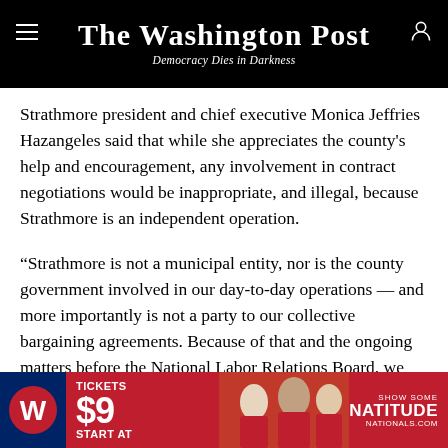The Washington Post — Democracy Dies in Darkness
Strathmore president and chief executive Monica Jeffries Hazangeles said that while she appreciates the county's help and encouragement, any involvement in contract negotiations would be inappropriate, and illegal, because Strathmore is an independent operation.
“Strathmore is not a municipal entity, nor is the county government involved in our day-to-day operations — and more importantly is not a party to our collective bargaining agreements. Because of that and the ongoing matters before the National Labor Relations Board, we have been especially careful to respect our
[Figure (photo): Washington Nationals advertisement banner: Tickets start at $9, Show Some Natitude, Nationals.com]